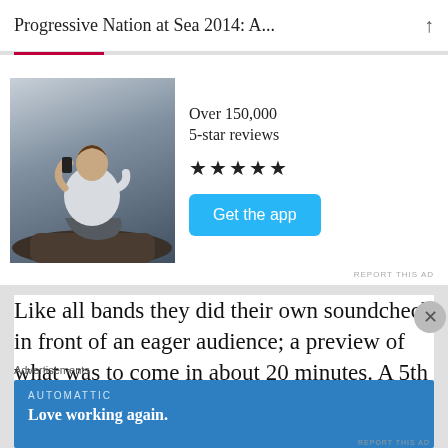Progressive Nation at Sea 2014: A...
[Figure (photo): Person sitting on rocks photographing scenery, seen from behind, wearing a white t-shirt]
Over 150,000 5-star reviews
★★★★★
Get the app
REPORT THIS AD
Like all bands they did their own soundcheck in front of an eager audience; a preview of what was to come in about 20 minutes. A 5th member of Transatlantic that I didn't
Advertisements
[Figure (screenshot): Automattic advertisement banner with text: AUTOMATTIC — Love working again.]
REPORT THIS AD